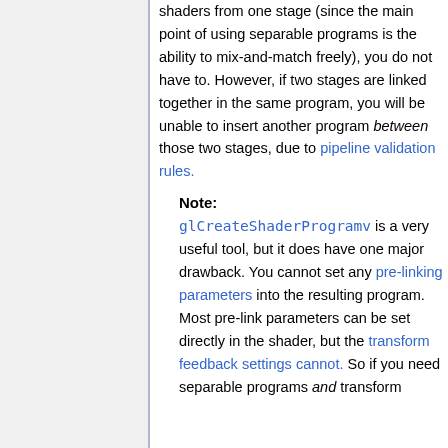shaders from one stage (since the main point of using separable programs is the ability to mix-and-match freely), you do not have to. However, if two stages are linked together in the same program, you will be unable to insert another program between those two stages, due to pipeline validation rules.
Note: glCreateShaderProgramv is a very useful tool, but it does have one major drawback. You cannot set any pre-linking parameters into the resulting program. Most pre-link parameters can be set directly in the shader, but the transform feedback settings cannot. So if you need separable programs and transform feedback, you will have to...